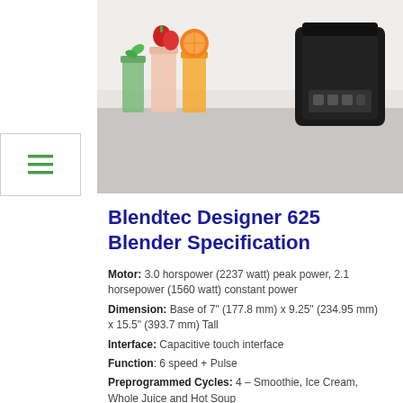[Figure (photo): Product photo of Blendtec Designer 625 Blender with fruits, smoothies and the blender base on a kitchen counter]
Blendtec Designer 625 Blender Specification
Motor: 3.0 horspower (2237 watt) peak power, 2.1 horsepower (1560 watt) constant power
Dimension: Base of 7" (177.8 mm) x 9.25" (234.95 mm) x 15.5" (393.7 mm) Tall
Interface: Capacitive touch interface
Function: 6 speed + Pulse
Preprogrammed Cycles: 4 – Smoothie, Ice Cream, Whole Juice and Hot Soup
Jar: Wildside+ Jar (90 oz capacity, with measurements up to 36 oz). BPA free